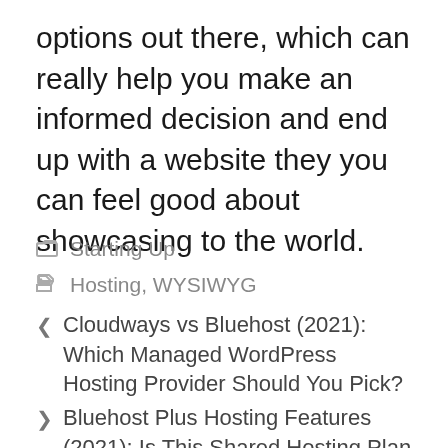options out there, which can really help you make an informed decision and end up with a website they you can feel good about showcasing to the world.
Starting Up
Hosting, WYSIWYG
Cloudways vs Bluehost (2021): Which Managed WordPress Hosting Provider Should You Pick?
Bluehost Plus Hosting Features (2021): Is This Shared Hosting Plan the Best For You?